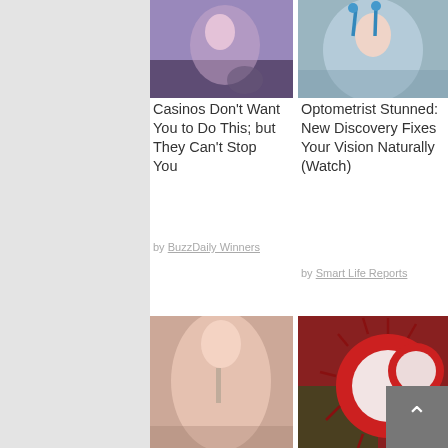[Figure (photo): Person in purple top at casino]
Casinos Don't Want You to Do This; but They Can't Stop You
by BuzzDaily Winners
[Figure (photo): Person with blue eye drops or device on face]
Optometrist Stunned: New Discovery Fixes Your Vision Naturally (Watch)
by Smart Life Reports
[Figure (photo): Woman touching face/chin, skin tag]
Doctors Stunned: Mole & Skin Tag Removal Has Never Been Easier (No Surgery)
[Figure (photo): Hand holding rambutan fruit]
Everyone Who Believes in God Should Watch This
by Exodus Effect